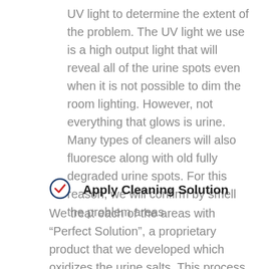UV light to determine the extent of the problem. The UV light we use is a high output light that will reveal all of the urine spots even when it is not possible to dim the room lighting. However, not everything that glows is urine. Many types of cleaners will also fluoresce along with old fully degraded urine spots. For this reason, we will confirm by smell the problem areas.
Apply Cleaning Solution
We treat each of the areas with “Perfect Solution”, a proprietary product that we developed which oxidizes the urine salts. This process essentially speeds up the natural degradation which normally takes